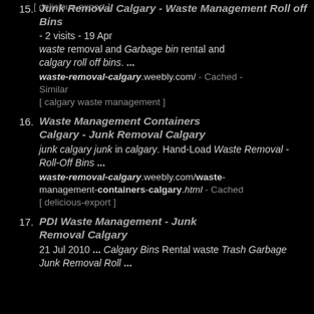[ delicious-export ]
15. Junk Removal Calgary - Waste Management Roll off Bins - 2 visits - 19 Apr. waste removal and Garbage bin rental and calgary roll off bins. ... waste-removal-calgary.weebly.com/ - Cached - Similar [ calgary waste management ]
16. Waste Management Containers Calgary - Junk Removal Calgary. junk calgary junk in calgary. Hand-Load Waste Removal - Roll-Off Bins ... waste-removal-calgary.weebly.com/waste-management-containers-calgary.html - Cached [ delicious-export ]
17. PDI Waste Management - Junk Removal Calgary. 21 Jul 2010 ... Calgary Bins Rental waste Trash Garbage Junk Removal Roll ...